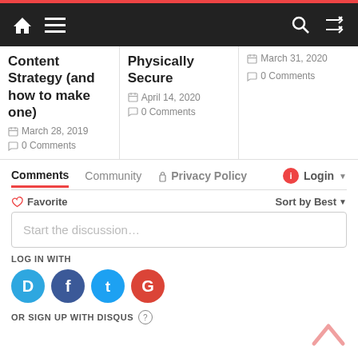[Figure (screenshot): Navigation bar with home icon, hamburger menu, search icon, and shuffle icon on dark background]
Content Strategy (and how to make one)
March 28, 2019
0 Comments
Physically Secure
April 14, 2020
0 Comments
March 31, 2020
0 Comments
Comments   Community   Privacy Policy   Login
Favorite   Sort by Best
Start the discussion…
LOG IN WITH
[Figure (infographic): Social login icons: Disqus (blue), Facebook (dark blue), Twitter (light blue), Google (red)]
OR SIGN UP WITH DISQUS ?